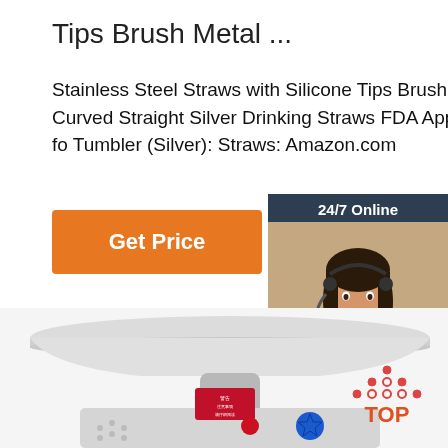Tips Brush Metal ...
Stainless Steel Straws with Silicone Tips Brush Metal Straws Curved Straight Silver Drinking Straws FDA Approved 8.5 10.5 Inch fo Tumbler (Silver): Straws: Amazon.com
Get Price
[Figure (photo): Chat widget with woman wearing headset, showing 24/7 Online header, Click here for free chat text, and QUOTATION button]
[Figure (photo): Stainless steel meat grinder appliance with blue knob and red label]
[Figure (infographic): TOP badge with orange dot pattern forming triangle above the text TOP in orange]